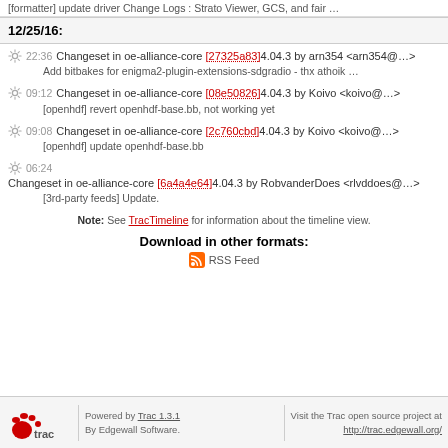[formatter] update driver Change Logs : Strato Viewer, GCS, and fair …
12/25/16:
22:36 Changeset in oe-alliance-core [27325a83]4.04.3 by arn354 <arn354@…>
Add bitbakes for enigma2-plugin-extensions-sdgradio - thx athoik …
09:12 Changeset in oe-alliance-core [08e50826]4.04.3 by Koivo <koivo@…>
[openhdf] revert openhdf-base.bb, not working yet
09:08 Changeset in oe-alliance-core [2c760cbd]4.04.3 by Koivo <koivo@…>
[openhdf] update openhdf-base.bb
06:24 Changeset in oe-alliance-core [6a4a4e64]4.04.3 by RobvanderDoes <rlvddoes@…>
[3rd-party feeds] Update.
Note: See TracTimeline for information about the timeline view.
Download in other formats:
RSS Feed
Powered by Trac 1.3.1 By Edgewall Software. Visit the Trac open source project at http://trac.edgewall.org/